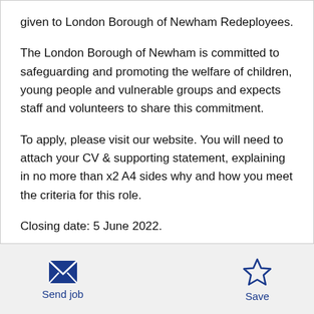given to London Borough of Newham Redeployees.
The London Borough of Newham is committed to safeguarding and promoting the welfare of children, young people and vulnerable groups and expects staff and volunteers to share this commitment.
To apply, please visit our website. You will need to attach your CV & supporting statement, explaining in no more than x2 A4 sides why and how you meet the criteria for this role.
Closing date: 5 June 2022.
Send job
Save